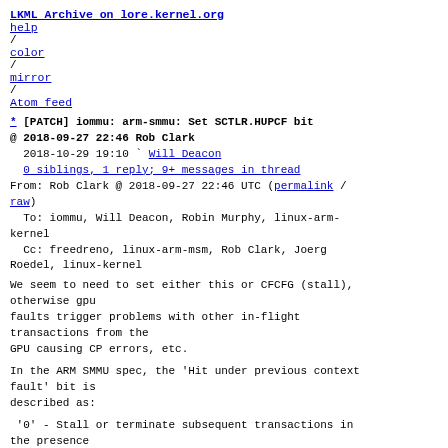LKML Archive on lore.kernel.org
help / color / mirror / Atom feed
* [PATCH] iommu: arm-smmu: Set SCTLR.HUPCF bit
@ 2018-09-27 22:46 Rob Clark
  2018-10-29 19:10 ` Will Deacon
  0 siblings, 1 reply; 9+ messages in thread
From: Rob Clark @ 2018-09-27 22:46 UTC (permalink / raw)
  To: iommu, Will Deacon, Robin Murphy, linux-arm-kernel
  Cc: freedreno, linux-arm-msm, Rob Clark, Joerg Roedel, linux-kernel
We seem to need to set either this or CFCFG (stall), otherwise gpu
faults trigger problems with other in-flight transactions from the
GPU causing CP errors, etc.
In the ARM SMMU spec, the 'Hit under previous context fault' bit is
described as:
'0' - Stall or terminate subsequent transactions in the presence
        of an outstanding context fault
'1' - Process all subsequent transactions independently of any
        outstanding context fault